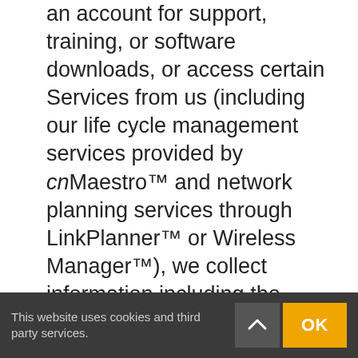an account for support, training, or software downloads, or access certain Services from us (including our life cycle management services provided by cnMaestro™ and network planning services through LinkPlanner™ or Wireless Manager™), we collect information including the user's name, job title, company, email address, telephone number and location.
When you download software updates, we may collect information including your name, job title, company, email address, telephone number and location.
This website uses cookies and third party services.